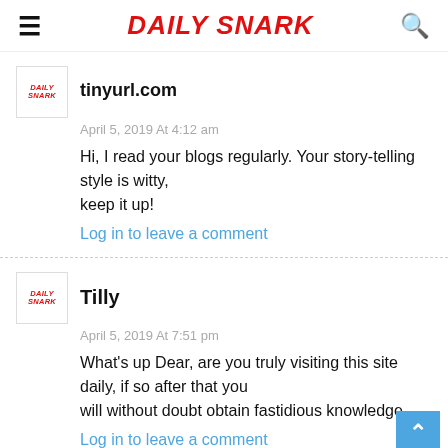DAILY SNARK
tinyurl.com
April 5, 2019 At 4:12 am
Hi, I read your blogs regularly. Your story-telling style is witty,
keep it up!
Log in to leave a comment
Tilly
April 5, 2019 At 7:51 pm
What's up Dear, are you truly visiting this site daily, if so after that you
will without doubt obtain fastidious knowledge.
Log in to leave a comment